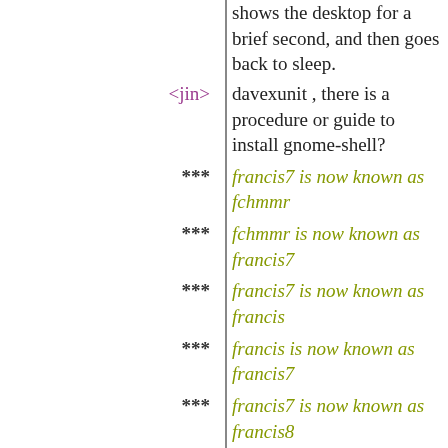shows the desktop for a brief second, and then goes back to sleep.
<jin> davexunit , there is a procedure or guide to install gnome-shell?
*** francis7 is now known as fchmmr
*** fchmmr is now known as francis7
*** francis7 is now known as francis
*** francis is now known as francis7
*** francis7 is now known as francis8